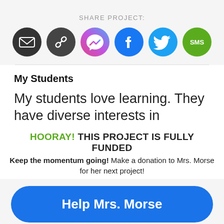SHARE PROJECT:
[Figure (infographic): Row of 6 social sharing icon circles: Email (dark grey envelope), Link (dark grey chain), Messenger (purple-pink gradient lightning bolt), Facebook (blue 'f'), Twitter (light blue bird), SMS (green 'SMS')]
My Students
My students love learning. They have diverse interests in science, math, technology, art, and
HOORAY! THIS PROJECT IS FULLY FUNDED
Keep the momentum going! Make a donation to Mrs. Morse for her next project!
Help Mrs. Morse